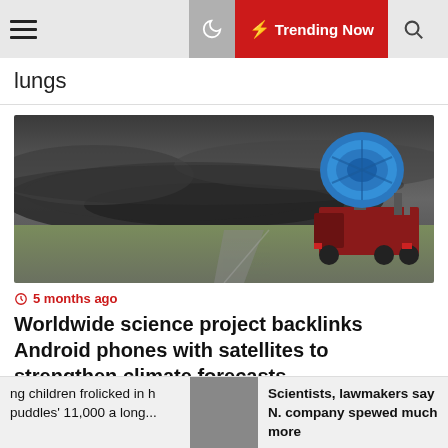Trending Now
lungs
[Figure (photo): A blue weather radar dish mounted on a truck, facing a dramatic dark storm system over flat plains/farmland.]
5 months ago
Worldwide science project backlinks Android phones with satellites to strengthen climate forecasts
ng children frolicked in h puddles' 11,000 a long...
Scientists, lawmakers say N. company spewed much more